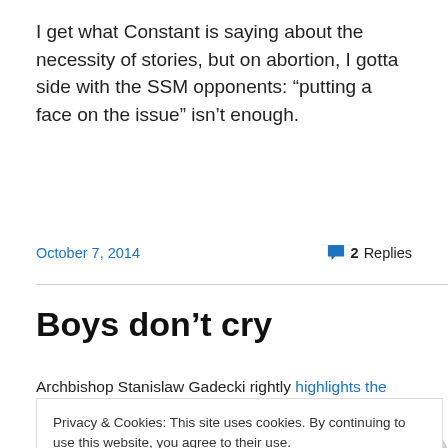I get what Constant is saying about the necessity of stories, but on abortion, I gotta side with the SSM opponents: “putting a face on the issue” isn’t enough.
October 7, 2014   2 Replies
Boys don’t cry
Archbishop Stanislaw Gadecki rightly highlights the grave
Privacy & Cookies: This site uses cookies. By continuing to use this website, you agree to their use.
To find out more, including how to control cookies, see here: Cookie Policy
Close and accept